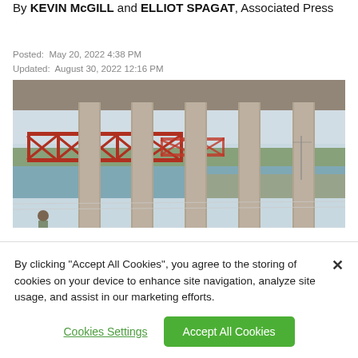By KEVIN McGILL and ELLIOT SPAGAT, Associated Press
Posted:  May 20, 2022 4:38 PM
Updated:  August 30, 2022 12:16 PM
[Figure (photo): View from underneath a concrete bridge overpass showing large cylindrical pillars in the foreground; in the background a red truss railroad/road bridge spans a river with trees and flat landscape beyond.]
By clicking “Accept All Cookies”, you agree to the storing of cookies on your device to enhance site navigation, analyze site usage, and assist in our marketing efforts.